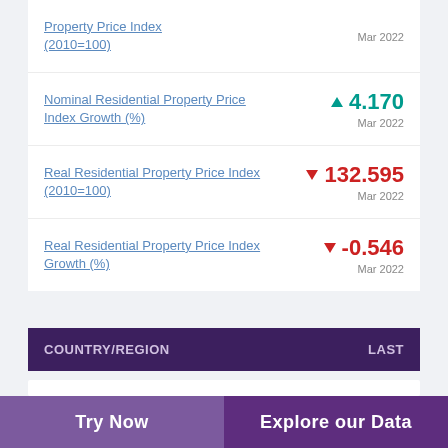Nominal Residential Property Price Index Growth (%) ▲ 4.170 Mar 2022
Real Residential Property Price Index (2010=100) ▼ 132.595 Mar 2022
Real Residential Property Price Index Growth (%) ▼ -0.546 Mar 2022
| COUNTRY/REGION | LAST |
| --- | --- |
| Consolidated Fiscal Balance % of GDP (%) | ▲ -4.0 |
Try Now | Explore our Data